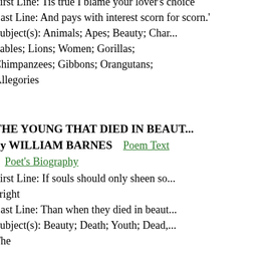First Line: Tis true I blame your lover's choice
Last Line: And pays with interest scorn for scorn.'
Subject(s): Animals; Apes; Beauty; Char... Fables; Lions; Women; Gorillas; Chimpanzees; Gibbons; Orangutans; Allegories
THE YOUNG THAT DIED IN BEAUT... by WILLIAM BARNES
Poem Text
Poet's Biography
First Line: If souls should only sheen so bright
Last Line: Than when they died in beaut...
Subject(s): Beauty; Death; Youth; Dead, The
THEFT, by WINIFRED LUCAS
Poem Text
First Line: Death could not have thee, sweet, and be unsatisfied
Last Line: Has ever love or beauty died?